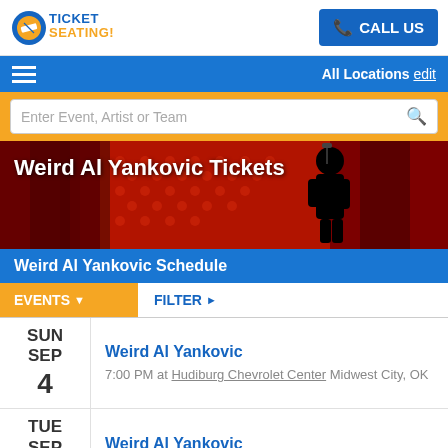[Figure (logo): Ticket Seating logo with ticket graphic and orange/blue text]
CALL US
All Locations edit
Enter Event, Artist or Team
[Figure (photo): Hero banner with silhouette of performer on stage with red curtains background]
Weird Al Yankovic Tickets
Weird Al Yankovic Schedule
EVENTS ▼
FILTER ▶
SUN SEP 4 — Weird Al Yankovic — 7:00 PM at Hudiburg Chevrolet Center Midwest City, OK
TUE SEP 6 — Weird Al Yankovic — 7:30 PM at Pikes Peak Center Colorado Springs, CO